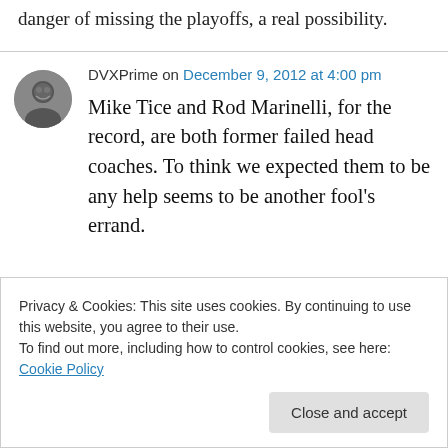danger of missing the playoffs, a real possibility.
DVXPrime on December 9, 2012 at 4:00 pm
Mike Tice and Rod Marinelli, for the record, are both former failed head coaches. To think we expected them to be any help seems to be another fool's errand.
Privacy & Cookies: This site uses cookies. By continuing to use this website, you agree to their use.
To find out more, including how to control cookies, see here: Cookie Policy